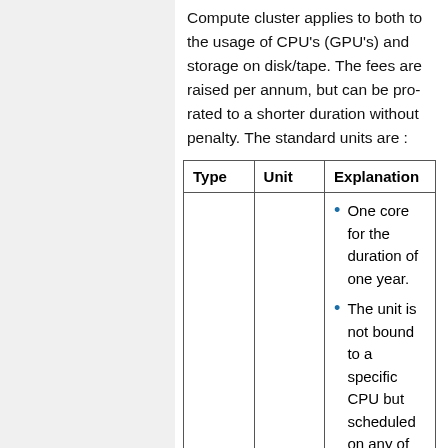Compute cluster applies to both to the usage of CPU's (GPU's) and storage on disk/tape. The fees are raised per annum, but can be pro-rated to a shorter duration without penalty. The standard units are :
| Type | Unit | Explanation |
| --- | --- | --- |
|  |  | • One core for the duration of one year.
• The unit is not bound to a specific CPU but scheduled on any of the systems on the Frontenac cluster. |